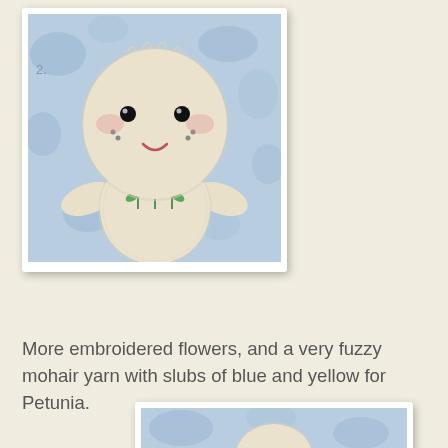[Figure (photo): A crocheted or knitted doll with a round cream/off-white fuzzy head, black bead eyes, small smile, and embroidered pink and green flowers on its chest/body. The doll has a cat-like face with whisker dots. Background is a blue and white floral fabric. The photo is in a white card/frame with drop shadow.]
More embroidered flowers, and a very fuzzy mohair yarn with slubs of blue and yellow for Petunia.
[Figure (photo): Partial view of another doll photo in a white card/frame with drop shadow, showing the top portion of a similar fuzzy cream-colored doll against a blue background. Only the top of the card and a bit of the doll's head is visible at the bottom of the page.]